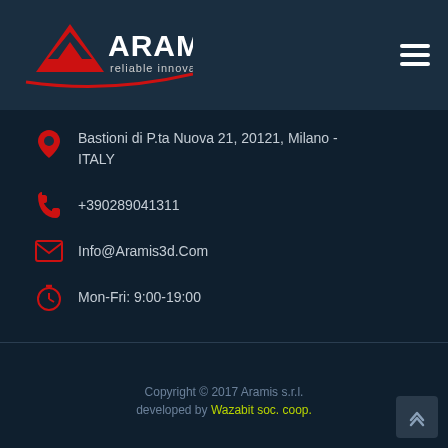[Figure (logo): Aramis logo with red geometric A shape and text 'ARAMIS reliable innovation' on dark background]
Bastioni di P.ta Nuova 21, 20121, Milano - ITALY
+390289041311
Info@Aramis3d.Com
Mon-Fri: 9:00-19:00
Copyright © 2017 Aramis s.r.l. developed by Wazabit soc. coop.